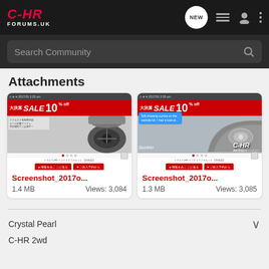C-HR FORUMS.UK — navigation bar with NEW, list, user, menu icons and Search Community search bar
Attachments
[Figure (screenshot): Screenshot of a Japanese car accessory listing (大決算SALE 10%off) showing Toyota C-HR interior, with red sale banner, car dashboard photo, and red purchase buttons. Filename: Screenshot_2017o... 1.4 MB, Views: 3,084]
[Figure (screenshot): Screenshot of a Japanese car accessory listing (大決算SALE 10%off) showing Toyota C-HR interior with a speech bubble overlay, C-HR branding, with red sale banner and red purchase buttons. Filename: Screenshot_2017o... 1.3 MB, Views: 3,085]
Crystal Pearl
C-HR 2wd